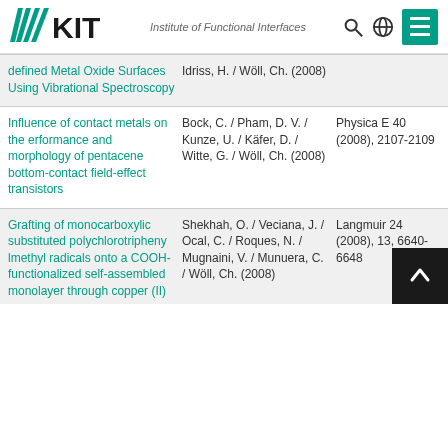KIT — Institute of Functional Interfaces
defined Metal Oxide Surfaces Using Vibrational Spectroscopy | Idriss, H. / Wöll, Ch. (2008)
Influence of contact metals on the erformance and morphology of pentacene bottom-contact field-effect transistors | Bock, C. / Pham, D. V. / Kunze, U. / Käfer, D. / Witte, G. / Wöll, Ch. (2008) | Physica E 40 (2008), 2107-2109
Grafting of monocarboxylic substituted polychlorotripheny lmethyl radicals onto a COOH-functionalized self-assembled monolayer through copper (II) | Shekhah, O. / Veciana, J. / Ocal, C. / Roques, N. / Mugnaini, V. / Munuera, C. / Wöll, Ch. (2008) | Langmuir 24 (2008), 13, 6640-6648